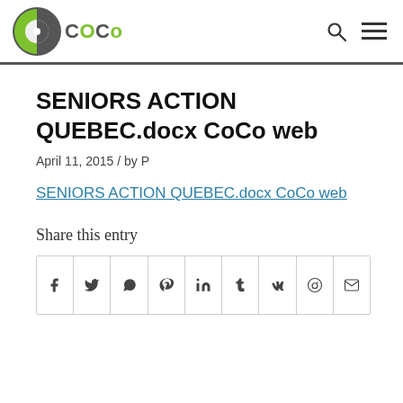CoCo
SENIORS ACTION QUEBEC.docx CoCo web
April 11, 2015 / by P
SENIORS ACTION QUEBEC.docx CoCo web
Share this entry